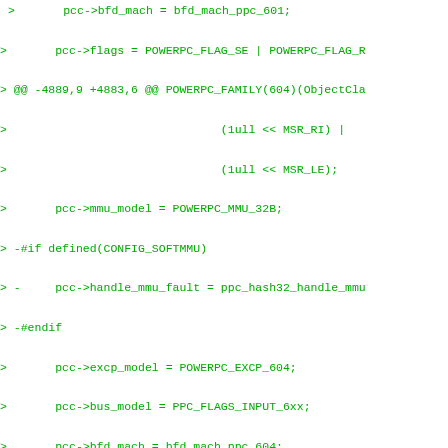>       pcc->bfd_mach = bfd_mach_ppc_601;
>       pcc->flags = POWERPC_FLAG_SE | POWERPC_FLAG_R
> @@ -4889,9 +4883,6 @@ POWERPC_FAMILY(604)(ObjectCla
>                               (1ull << MSR_RI) |
>                               (1ull << MSR_LE);
>       pcc->mmu_model = POWERPC_MMU_32B;
> -#if defined(CONFIG_SOFTMMU)
> -     pcc->handle_mmu_fault = ppc_hash32_handle_mmu_
> -#endif
>       pcc->excp_model = POWERPC_EXCP_604;
>       pcc->bus_model = PPC_FLAGS_INPUT_6xx;
>       pcc->bfd_mach = bfd_mach_ppc_604;
> @@ -4973,9 +4964,6 @@ POWERPC_FAMILY(604E)(ObjectC
>                               (1ull << MSR_RI) |
>                               (1ull << MSR_LE);